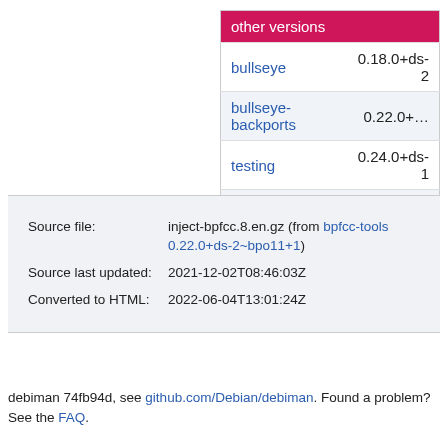| other versions |  |
| --- | --- |
| bullseye | 0.18.0+ds-2 |
| bullseye-backports | 0.22.0+... |
| testing | 0.24.0+ds-1 |
| unstable | 0.24.0+ds-1 |
|  |  |
| --- | --- |
| Source file: | inject-bpfcc.8.en.gz (from bpfcc-tools 0.22.0+ds-2~bpo11+1) |
| Source last updated: | 2021-12-02T08:46:03Z |
| Converted to HTML: | 2022-06-04T13:01:24Z |
debiman 74fb94d, see github.com/Debian/debiman. Found a problem? See the FAQ.